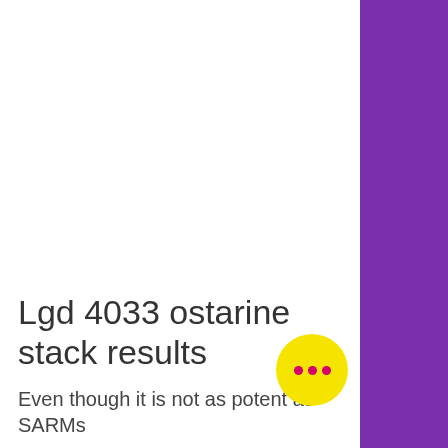Lgd 4033 ostarine stack results
Even though it is not as potent as SARMs